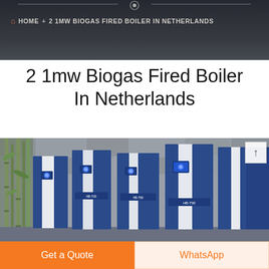HOME + 2 1MW BIOGAS FIRED BOILER IN NETHERLANDS
2 1mw Biogas Fired Boiler In Netherlands
[Figure (photo): Multiple industrial biogas-fired boiler units (blue and white, labeled HB-T00, HB-T80, HB-T30) displayed in a row against a stone wall background with bamboo plants on the left.]
Get a Quote
WhatsApp